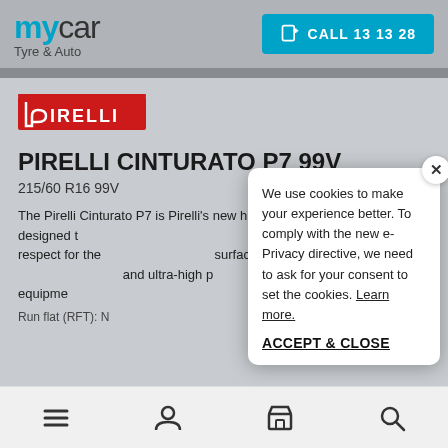mycar Tyre & Auto — CALL 13 13 28
[Figure (logo): Pirelli red logo with stylized P and IRELLI text]
PIRELLI CINTURATO P7 99V
215/60 R16 99V
The Pirelli Cinturato P7 is Pirelli's new high performance green tyre, designed to take advantage of the latest material structures and t... respect for the ... surfaces. Pirelli ... and ultra-high p... original equipme...
Run flat (RFT): N...
We use cookies to make your experience better. To comply with the new e-Privacy directive, we need to ask for your consent to set the cookies. Learn more.
ACCEPT & CLOSE
Navigation icons: menu, user, store, search